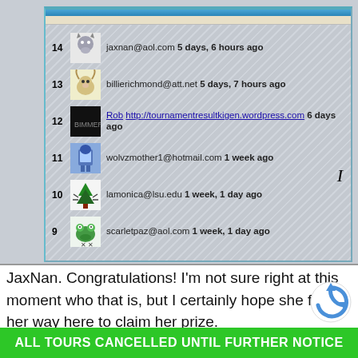[Figure (screenshot): Screenshot of a website showing a leaderboard/comment list with numbered entries (9-14) showing avatars, email addresses, and time stamps. Entries: 14 jaxnan@aol.com 5 days, 6 hours ago; 13 billierichmond@att.net 5 days, 7 hours ago; 12 Rob http://tournamentresultkigen.wordpress.com 6 days ago; 11 wolvzmother1@hotmail.com 1 week ago; 10 lamonica@lsu.edu 1 week, 1 day ago; 9 scarletpaz@aol.com 1 week, 1 day ago]
JaxNan.  Congratulations!  I'm not sure right at this moment who that is, but I certainly hope she finds her way here to claim her prize.
ALL TOURS CANCELLED UNTIL FURTHER NOTICE